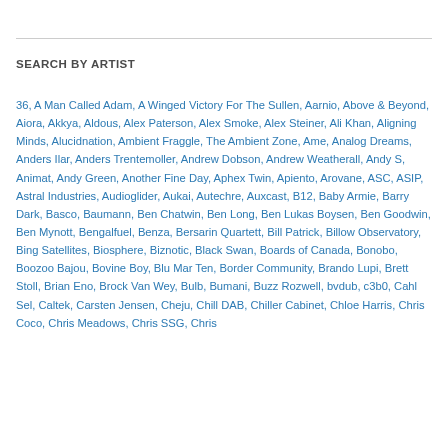SEARCH BY ARTIST
36, A Man Called Adam, A Winged Victory For The Sullen, Aarnio, Above & Beyond, Aiora, Akkya, Aldous, Alex Paterson, Alex Smoke, Alex Steiner, Ali Khan, Aligning Minds, Alucidnation, Ambient Fraggle, The Ambient Zone, Ame, Analog Dreams, Anders Ilar, Anders Trentemoller, Andrew Dobson, Andrew Weatherall, Andy S, Animat, Andy Green, Another Fine Day, Aphex Twin, Apiento, Arovane, ASC, ASIP, Astral Industries, Audioglider, Aukai, Autechre, Auxcast, B12, Baby Armie, Barry Dark, Basco, Baumann, Ben Chatwin, Ben Long, Ben Lukas Boysen, Ben Goodwin, Ben Mynott, Bengalfuel, Benza, Bersarin Quartett, Bill Patrick, Billow Observatory, Bing Satellites, Biosphere, Biznotic, Black Swan, Boards of Canada, Bonobo, Boozoo Bajou, Bovine Boy, Blu Mar Ten, Border Community, Brando Lupi, Brett Stoll, Brian Eno, Brock Van Wey, Bulb, Bumani, Buzz Rozwell, bvdub, c3b0, Cahl Sel, Caltek, Carsten Jensen, Cheju, Chill DAB, Chiller Cabinet, Chloe Harris, Chris Coco, Chris Meadows, Chris SSG, Chris